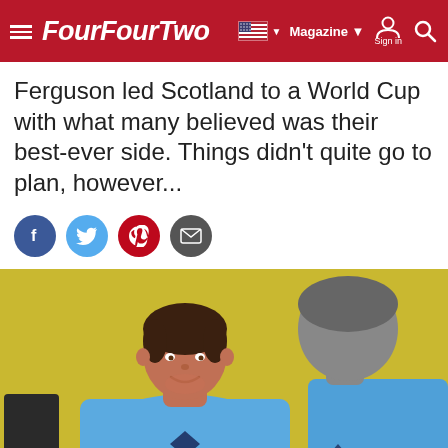FourFourTwo — Magazine — Sign in
Ferguson led Scotland to a World Cup with what many believed was their best-ever side. Things didn't quite go to plan, however...
[Figure (other): Social sharing icons row: Facebook (blue circle), Twitter (light blue circle), Pinterest (red circle), Email (dark grey circle)]
[Figure (photo): Two men wearing blue Umbro t-shirts seated in front of a yellow wall. The man on the left has dark hair and is facing forward, the man on the right is partially cropped.]